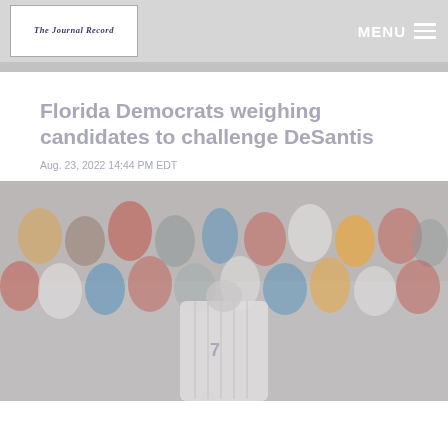The Journal Record
Florida Democrats weighing candidates to challenge DeSantis
Aug. 23, 2022 14:44 PM EDT
[Figure (photo): Crowd of people at what appears to be a sporting event, with a baseball player in a white pinstripe uniform wearing number 7 visible from behind, facing the crowd in the stands.]